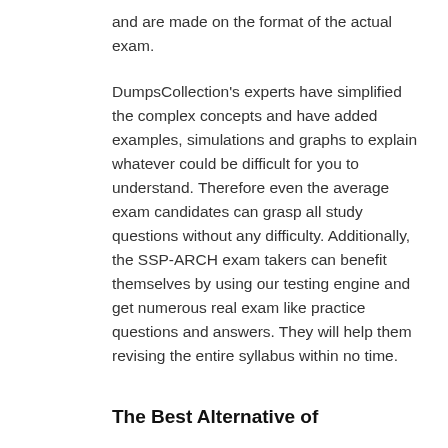and are made on the format of the actual exam.
DumpsCollection's experts have simplified the complex concepts and have added examples, simulations and graphs to explain whatever could be difficult for you to understand. Therefore even the average exam candidates can grasp all study questions without any difficulty. Additionally, the SSP-ARCH exam takers can benefit themselves by using our testing engine and get numerous real exam like practice questions and answers. They will help them revising the entire syllabus within no time.
The Best Alternative of